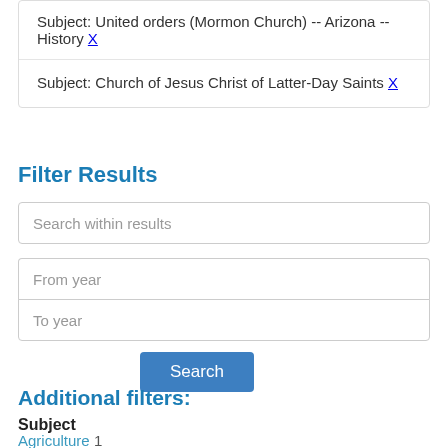Subject: United orders (Mormon Church) -- Arizona -- History X
Subject: Church of Jesus Christ of Latter-Day Saints X
Filter Results
Search within results
From year
To year
Search
Additional filters:
Subject
Agriculture  1
Agriculture and Natural Resources  1